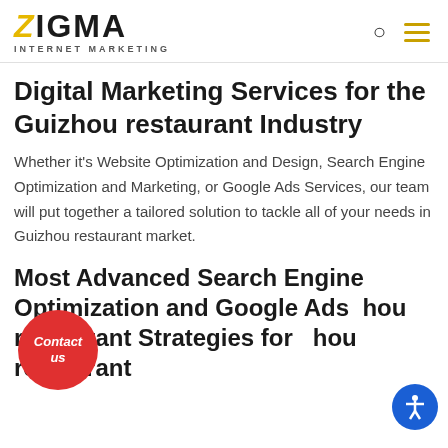ZIGMA INTERNET MARKETING
Digital Marketing Services for the Guizhou restaurant Industry
Whether it's Website Optimization and Design, Search Engine Optimization and Marketing, or Google Ads Services, our team will put together a tailored solution to tackle all of your needs in Guizhou restaurant market.
Most Advanced Search Engine Optimization and Google Ads Guizhou restaurant Strategies for Guizhou restaurant